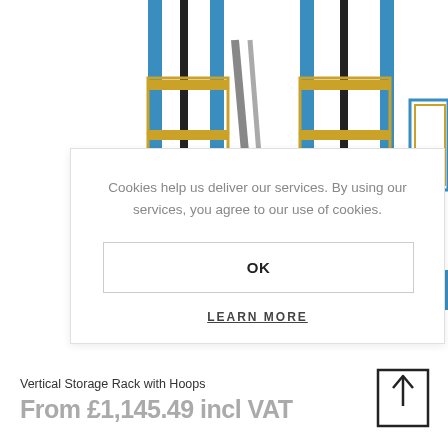[Figure (photo): Product image of a vertical storage rack with hoops, featuring blue and gold metal frame structures on a white background, partially obscured by cookie consent overlay.]
Cookies help us deliver our services. By using our services, you agree to our use of cookies.
OK
LEARN MORE
Vertical Storage Rack with Hoops
From £1,145.49 incl VAT